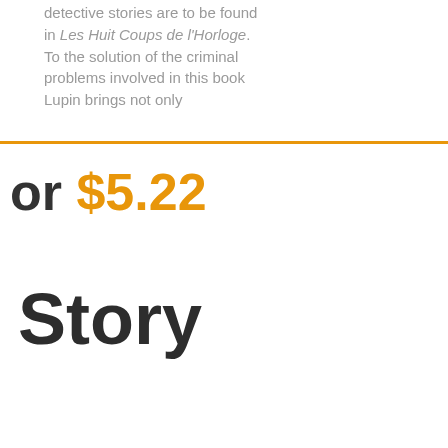detective stories are to be found in Les Huit Coups de l'Horloge. To the solution of the criminal problems involved in this book Lupin brings not only
or $5.22
Story